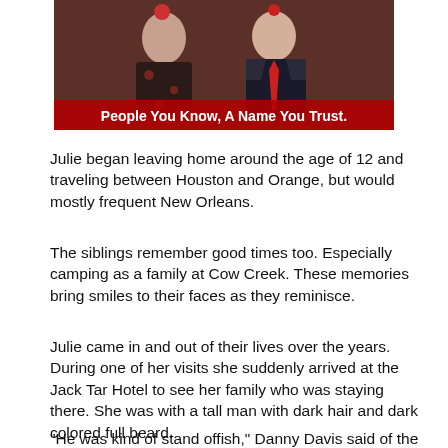[Figure (photo): Photo of two people (a woman and a man in a suit with red tie) with a red banner caption reading 'People You Know, A Name You Trust.']
Julie began leaving home around the age of 12 and traveling between Houston and Orange, but would mostly frequent New Orleans.
The siblings remember good times too. Especially camping as a family at Cow Creek. These memories bring smiles to their faces as they reminisce.
Julie came in and out of their lives over the years. During one of her visits she suddenly arrived at the Jack Tar Hotel to see her family who was staying there. She was with a tall man with dark hair and dark colored full beard.
"He was kind of stand offish," Danny Davis said of the